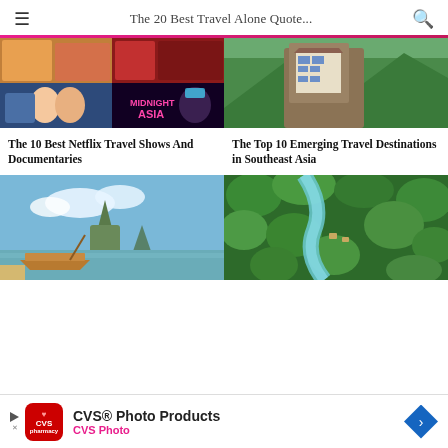The 20 Best Travel Alone Quote...
[Figure (photo): Collage of Netflix travel show thumbnails including Midnight Asia]
The 10 Best Netflix Travel Shows And Documentaries
[Figure (photo): Aerial photo of a monastery on a cliff in Southeast Asia with green mountains]
The Top 10 Emerging Travel Destinations in Southeast Asia
[Figure (photo): Longtail boat on turquoise water near limestone karsts in Thailand]
[Figure (photo): Aerial view of a jungle river winding through dense green forest]
CVS® Photo Products CVS Photo